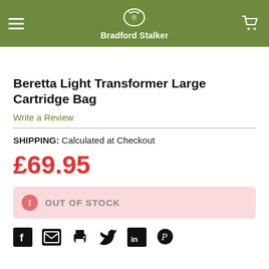Bradford Stalker
Beretta Light Transformer Large Cartridge Bag
Write a Review
SHIPPING: Calculated at Checkout
£69.95
OUT OF STOCK
[Figure (other): Social sharing icons row: Facebook, email/envelope, printer, Twitter, LinkedIn, Pinterest]